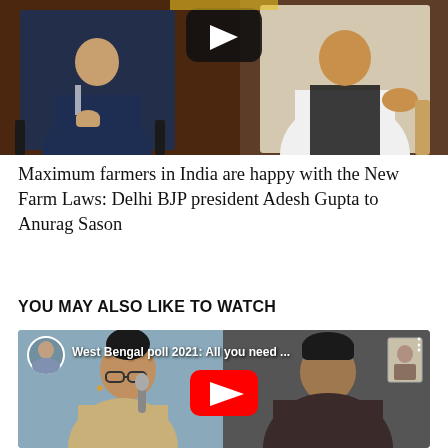[Figure (screenshot): Video screenshot showing two men in conversation - one in a dark suit on the left, one in a white kurta with dark vest on the right, seated against a dark brown background with a play button overlay at top center]
Maximum farmers in India are happy with the New Farm Laws: Delhi BJP president Adesh Gupta to Anurag Sason
YOU MAY ALSO LIKE TO WATCH
[Figure (screenshot): YouTube video thumbnail showing a woman with glasses speaking into a microphone on the left, and a man on the right, with a red YouTube play button in the center. Title bar reads 'West Bengal poll 2021: All you need ...' with a channel avatar in top left corner]